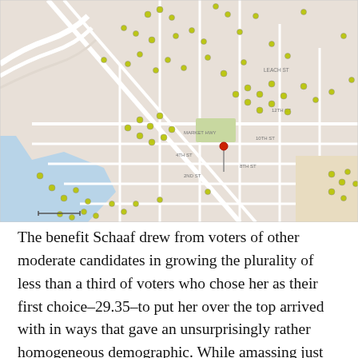[Figure (map): Street map showing an urban grid area with numerous yellow-green circular markers (dots) scattered across the map indicating voter locations or candidate supporters, and a single red dot marker near the center with a pin drop. The map shows a coastal city neighborhood with streets labeled including 4th St, 2nd St, and others. Water/bay visible on left side.]
The benefit Schaaf drew from voters of other moderate candidates in growing the plurality of less than a third of voters who chose her as their first choice–29.35–to put her over the top arrived with in ways that gave an unsurprisingly rather homogeneous demographic.  While amassing just under a third of the votes in a field of 15 is a